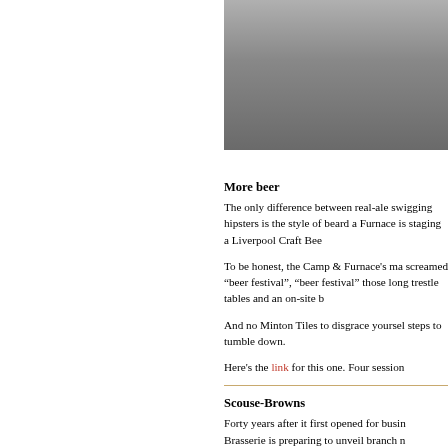[Figure (photo): A photo showing what appears to be an indoor venue or warehouse space with equipment/cases visible on the floor, concrete ground, taken from above or at an angle.]
More beer
The only difference between real-ale swigging hipsters is the style of beard and Furnace is staging a Liverpool Craft Bee
To be honest, the Camp & Furnace's ma screamed “beer festival”, “beer festival” those long trestle tables and an on-site b
And no Minton Tiles to disgrace yourself steps to tumble down.
Here's the link for this one. Four session
Scouse-Browns
Forty years after it first opened for busin Brasserie is preparing to unveil branch n
Opening in the old Zavvi in Liverpool On sometime around the end of May/beginn June, Brown's promises to bring its “mix classic dishes close to people's hearts”, as far as anyone can gather, is PR spea